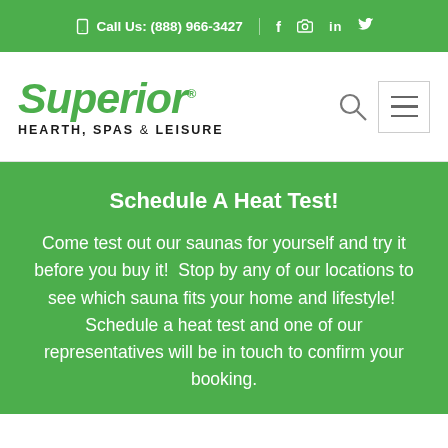Call Us: (888) 966-3427
[Figure (logo): Superior Hearth, Spas & Leisure company logo with green italic text]
Schedule A Heat Test!
Come test out our saunas for yourself and try it before you buy it!  Stop by any of our locations to see which sauna fits your home and lifestyle!  Schedule a heat test and one of our representatives will be in touch to confirm your booking.